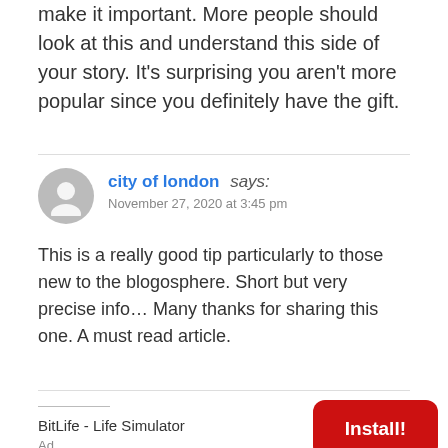make it important. More people should look at this and understand this side of your story. It's surprising you aren't more popular since you definitely have the gift.
city of london says:
November 27, 2020 at 3:45 pm

This is a really good tip particularly to those new to the blogosphere. Short but very precise info… Many thanks for sharing this one. A must read article.
BitLife - Life Simulator
Ad
Install!